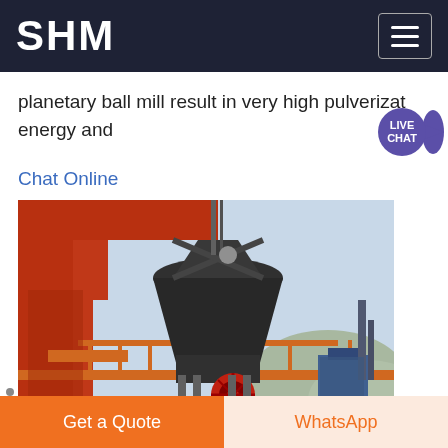SHM
planetary ball mill result in very high pulverizat… energy and
Chat Online
[Figure (photo): Industrial crushing/milling machine (cone crusher) mounted on a red steel frame structure with orange walkways, photographed outdoors against a light blue sky.]
14 Types of Bearings The
Get a Quote
WhatsApp